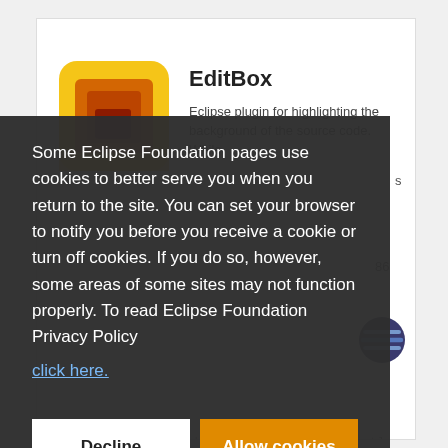[Figure (screenshot): EditBox Eclipse plugin icon - yellow rounded square with nested orange/red squares inside]
EditBox
Eclipse plugin for highlighting the background of the source code. While
s
86
[Figure (logo): Eclipse foundation logo - blue circle with horizontal lines]
Some Eclipse Foundation pages use cookies to better serve you when you return to the site. You can set your browser to notify you before you receive a cookie or turn off cookies. If you do so, however, some areas of some sites may not function properly. To read Eclipse Foundation Privacy Policy
click here.
Decline
Allow cookies
platform based tool support for Aspect J. Our goal is to deliver a user